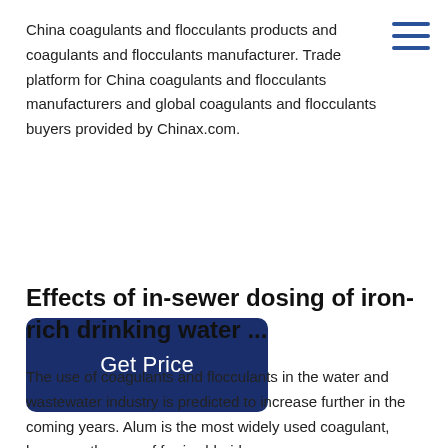China coagulants and flocculants products and coagulants and flocculants manufacturer. Trade platform for China coagulants and flocculants manufacturers and global coagulants and flocculants buyers provided by Chinax.com.
[Figure (other): Hamburger menu icon with three horizontal blue lines]
Get Price
Effects of in-sewer dosing of iron-rich drinking water ...
The use of coagulants and flocculants in the water and wastewater industry is predicted to increase further in the coming years. Alum is the most widely used coagulant, however, the use of ferric chloride